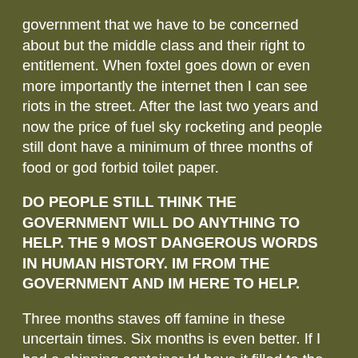government that we have to be concerned about but the middle class and their right to entitlement. When foxtel goes down or even more importantly the internet then I can see riots in the street. After the last two years and now the price of fuel sky rocketing and people still dont have a minimum of three months of food or god forbid toilet paper.
DO PEOPLE STILL THINK THE GOVERNMENT WILL DO ANYTHING TO HELP. THE 9 MOST DANGEROUS WORDS IN HUMAN HISTORY. IM FROM THE GOVERNMENT AND IM HERE TO HELP.
Three months staves off famine in these uncertain times. Six months is even better. If I had a shipping container Id have it filled to the brim, but Ive tried to have enough stored away where I dont have that fear everytime the word Rationing is used or Global Food Shortage.
Three months staves off famine in these uncertain times of th...